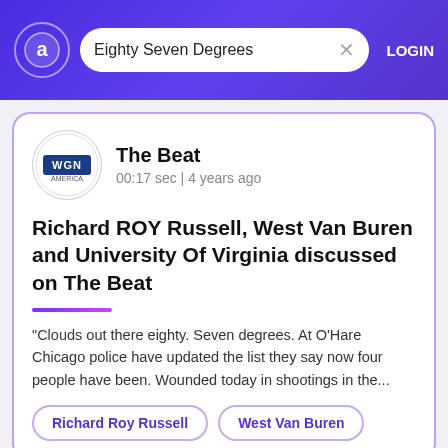Eighty Seven Degrees | LOGIN
Richard ROY Russell, West Van Buren and University Of Virginia discussed on The Beat
The Beat
00:17 sec | 4 years ago
"Clouds out there eighty. Seven degrees. At O'Hare Chicago police have updated the list they say now four people have been. Wounded today in shootings in the...
Richard Roy Russell
West Van Buren